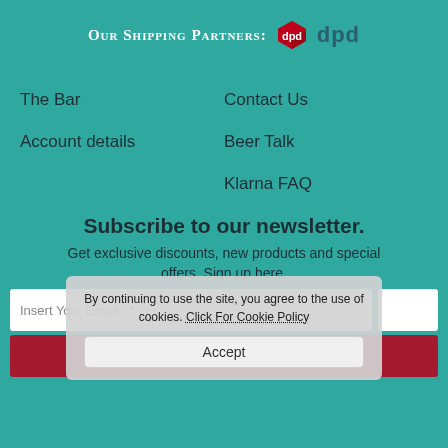Our Shipping Partners: dpd
The Bar
Contact Us
Account details
Beer Talk
Klarna FAQ
Subscribe to our newsletter.
Get exclusive discounts, new products and special offers. Sign up here.
Insert Your Email...*
Subscribe
By continuing to use the site, you agree to the use of cookies. Click For Cookie Policy
Accept